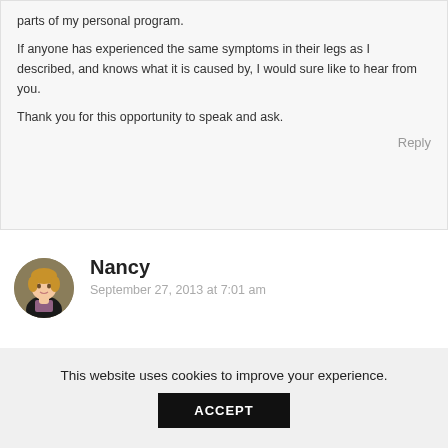parts of my personal program.
If anyone has experienced the same symptoms in their legs as I described, and knows what it is caused by, I would sure like to hear from you.
Thank you for this opportunity to speak and ask.
Reply
Nancy
September 27, 2013 at 7:01 am
This website uses cookies to improve your experience.
ACCEPT